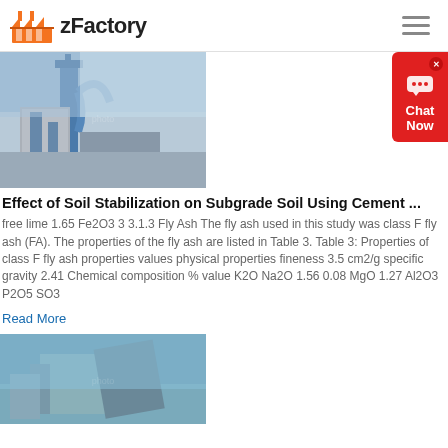zFactory
[Figure (photo): Industrial factory equipment with blue piping and silos against a sky background]
Effect of Soil Stabilization on Subgrade Soil Using Cement ...
free lime 1.65 Fe2O3 3 3.1.3 Fly Ash The fly ash used in this study was class F fly ash (FA). The properties of the fly ash are listed in Table 3. Table 3: Properties of class F fly ash properties values physical properties fineness 3.5 cm2/g specific gravity 2.41 Chemical composition % value K2O Na2O 1.56 0.08 MgO 1.27 Al2O3 P2O5 SO3
Read More
[Figure (photo): Heavy industrial machinery, appears to be a crusher or construction equipment against blue sky]